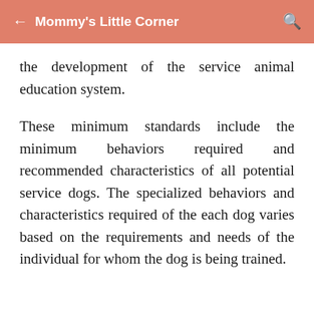Mommy's Little Corner
the development of the service animal education system.
These minimum standards include the minimum behaviors required and recommended characteristics of all potential service dogs. The specialized behaviors and characteristics required of the each dog varies based on the requirements and needs of the individual for whom the dog is being trained.